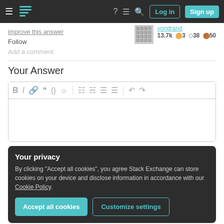Stack Exchange navigation bar with Log in and Sign up buttons
improve this answer
Follow
Add a comment
vondrand 13.7k ★3 ◈38 ◉50
Your Answer
[Figure (screenshot): Rich text editor toolbar with Bold, Italic, Link, Quote, Code, Image, Ordered list, Unordered list, and other formatting icons, followed by an empty text area.]
Your privacy
By clicking "Accept all cookies", you agree Stack Exchange can store cookies on your device and disclose information in accordance with our Cookie Policy.
Accept all cookies
Customize settings
Sign up or log in